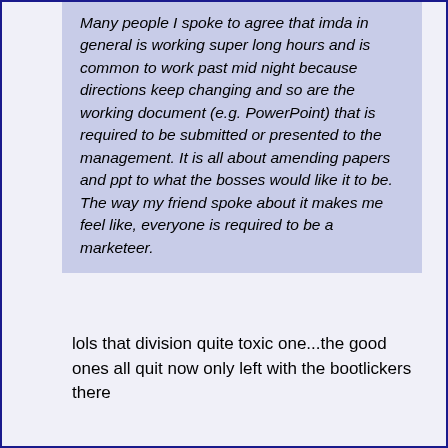Many people I spoke to agree that imda in general is working super long hours and is common to work past mid night because directions keep changing and so are the working document (e.g. PowerPoint) that is required to be submitted or presented to the management. It is all about amending papers and ppt to what the bosses would like it to be. The way my friend spoke about it makes me feel like, everyone is required to be a marketeer.
lols that division quite toxic one...the good ones all quit now only left with the bootlickers there